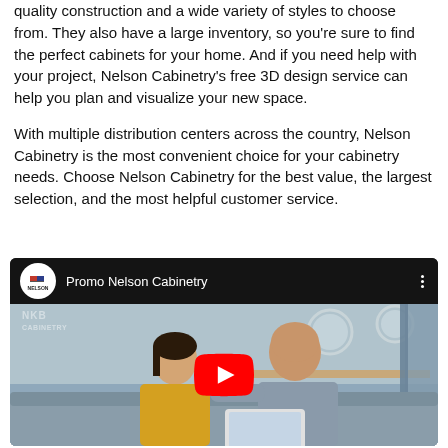quality construction and a wide variety of styles to choose from. They also have a large inventory, so you're sure to find the perfect cabinets for your home. And if you need help with your project, Nelson Cabinetry's free 3D design service can help you plan and visualize your new space.

With multiple distribution centers across the country, Nelson Cabinetry is the most convenient choice for your cabinetry needs. Choose Nelson Cabinetry for the best value, the largest selection, and the most helpful customer service.
[Figure (screenshot): Embedded YouTube video player showing 'Promo Nelson Cabinetry' with Nelson Cabinetry channel logo, three-dot menu, and a YouTube play button overlaid on a photo of a couple sitting on a couch looking at a tablet.]